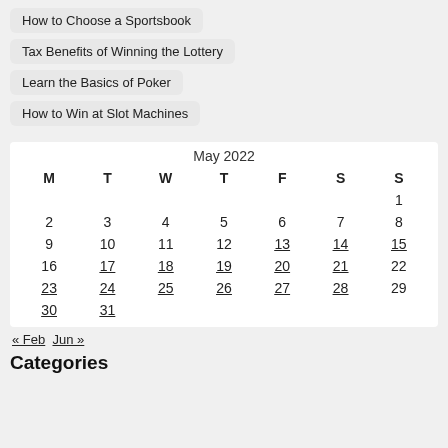How to Choose a Sportsbook
Tax Benefits of Winning the Lottery
Learn the Basics of Poker
How to Win at Slot Machines
| M | T | W | T | F | S | S |
| --- | --- | --- | --- | --- | --- | --- |
|  |  |  |  |  |  | 1 |
| 2 | 3 | 4 | 5 | 6 | 7 | 8 |
| 9 | 10 | 11 | 12 | 13 | 14 | 15 |
| 16 | 17 | 18 | 19 | 20 | 21 | 22 |
| 23 | 24 | 25 | 26 | 27 | 28 | 29 |
| 30 | 31 |  |  |  |  |  |
« Feb   Jun »
Categories